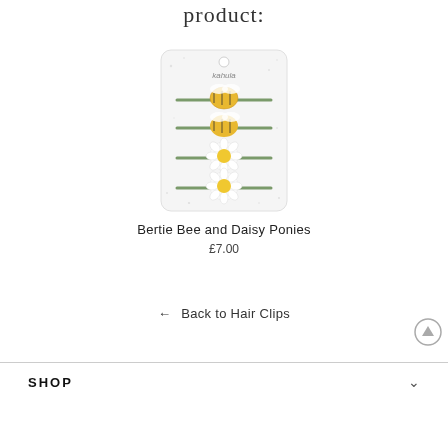product:
[Figure (photo): A Kahula branded card displaying four hair ponies/hair ties with decorative bee and daisy designs. Two ponies have yellow bee decorations and two have white daisy with yellow center decorations, on green elastic bands, mounted on a white speckled card with a hole punch at the top.]
Bertie Bee and Daisy Ponies
£7.00
← Back to Hair Clips
SHOP